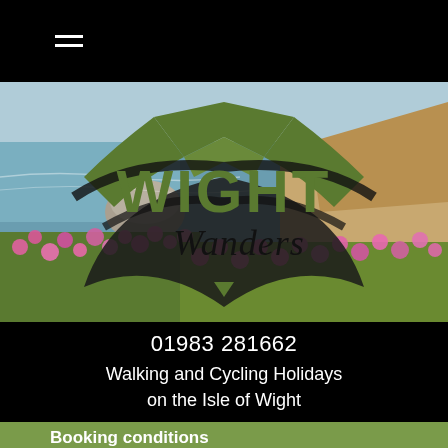[Figure (screenshot): Navigation bar with hamburger menu icon (three white lines) on black background]
[Figure (photo): Coastal scene with pink flowers (sea thrift), rocky cliffs, and sea water. The Wight Wanders logo is overlaid: large green WIGHT text with tent/mountain graphic and cursive Wanders text underneath, on a black swoosh background.]
01983 281662
Walking and Cycling Holidays on the Isle of Wight
Booking conditions
All bookings are made and accepted in accordance...